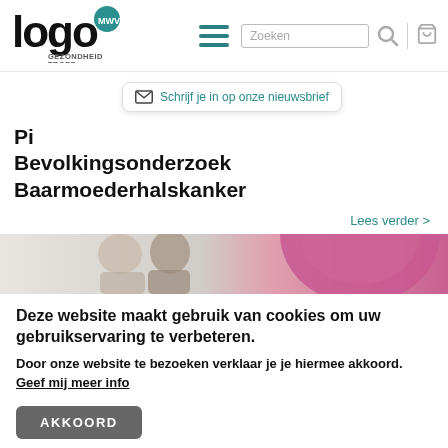[Figure (logo): Logo MWV Gezondheid Troef with stylized letters and teal circle]
Schrijf je in op onze nieuwsbrief
Pil... Bevolkingsonderzoek Baarmoederhalskanker
Lees verder >
[Figure (photo): Partial image showing people and a pink circular graphic]
Deze website maakt gebruik van cookies om uw gebruikservaring te verbeteren.
Door onze website te bezoeken verklaar je je hiermee akkoord. Geef mij meer info
AKKOORD